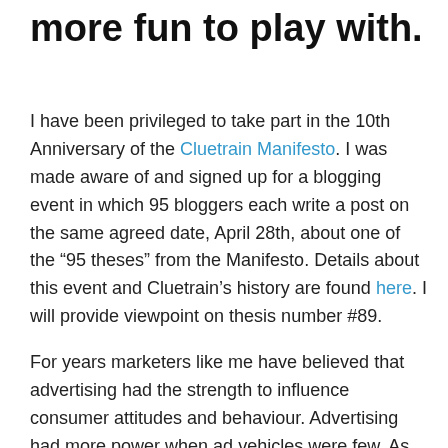more fun to play with.
I have been privileged to take part in the 10th Anniversary of the Cluetrain Manifesto. I was made aware of and signed up for a blogging event in which 95 bloggers each write a post on the same agreed date, April 28th, about one of the “95 theses” from the Manifesto. Details about this event and Cluetrain’s history are found here. I will provide viewpoint on thesis number #89.
For years marketers like me have believed that advertising had the strength to influence consumer attitudes and behaviour. Advertising had more power when ad vehicles were few. As consumers, we were easy to get a hold of – we read the same papers, listened to the same radio programs, and watched the same television shows as everyone we know. Marketers had it easy – but it was rare